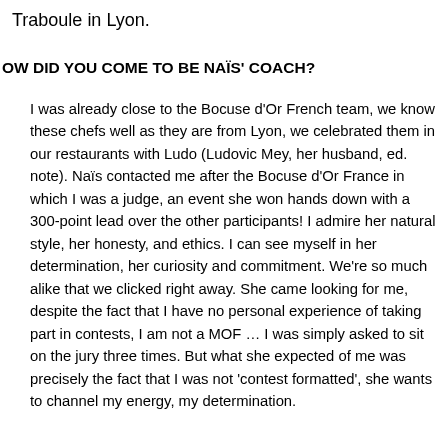Traboule in Lyon.
OW DID YOU COME TO BE NAÏS' COACH?
I was already close to the Bocuse d'Or French team, we know these chefs well as they are from Lyon, we celebrated them in our restaurants with Ludo (Ludovic Mey, her husband, ed. note). Naïs contacted me after the Bocuse d'Or France in which I was a judge, an event she won hands down with a 300-point lead over the other participants! I admire her natural style, her honesty, and ethics. I can see myself in her determination, her curiosity and commitment. We're so much alike that we clicked right away. She came looking for me, despite the fact that I have no personal experience of taking part in contests, I am not a MOF … I was simply asked to sit on the jury three times. But what she expected of me was precisely the fact that I was not 'contest formatted', she wants to channel my energy, my determination.